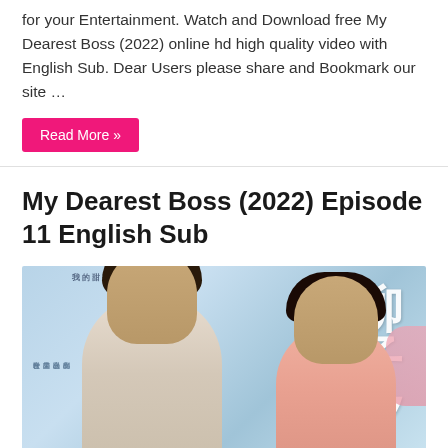for your Entertainment. Watch and Download free My Dearest Boss (2022) online hd high quality video with English Sub. Dear Users please share and Bookmark our site …
Read More »
My Dearest Boss (2022) Episode 11 English Sub
[Figure (photo): Promotional poster for My Dearest Boss (2022) showing two young actors — a male in a light knit jacket standing in front and a smiling female in a pink jacket behind him. Chinese characters are visible on the right side and top of the image against a light blue/teal background.]